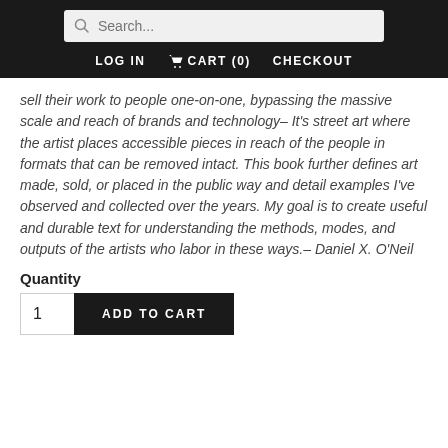Search... | LOG IN | CART (0) | CHECKOUT
sell their work to people one-on-one, bypassing the massive scale and reach of brands and technology– It's street art where the artist places accessible pieces in reach of the people in formats that can be removed intact. This book further defines art made, sold, or placed in the public way and detail examples I've observed and collected over the years. My goal is to create useful and durable text for understanding the methods, modes, and outputs of the artists who labor in these ways.– Daniel X. O'Neil
Quantity
1
ADD TO CART